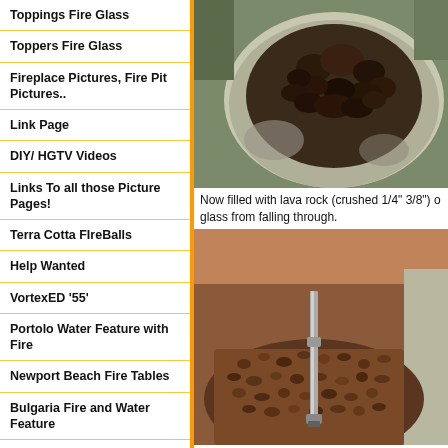Toppings Fire Glass
Toppers Fire Glass
Fireplace Pictures, Fire Pit Pictures..
Link Page
DIY/ HGTV Videos
Links To all those Picture Pages!
Terra Cotta FIreBalls
Help Wanted
VortexED '55'
Portolo Water Feature with Fire
Newport Beach Fire Tables
Bulgaria Fire and Water Feature
FireGlass
[Figure (photo): Fire pit bowl filled with dark lava rocks inside a round concrete surround, viewed from above in outdoor sunlight.]
Now filled with lava rock (crushed 1/4" 3/8") o glass from falling through.
[Figure (photo): Close-up of a fire pit filled with crushed lava rock/gravel showing a metal gas burner pipe in the center, with a hand visible at the top and a round concrete edge.]